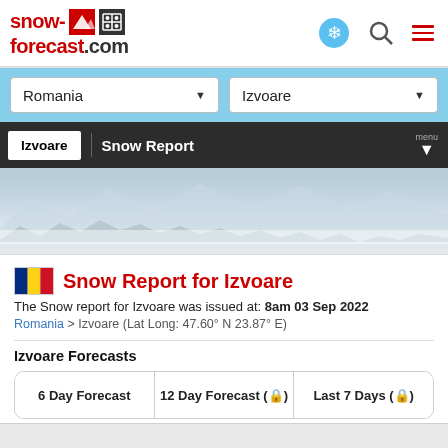snow-forecast.com
Romania | Izvoare
Izvoare | Snow Report
[Figure (photo): Mountain landscape photo with misty forested hills and grey sky, showing a snow-covered or foggy mountain scene.]
Snow Report for Izvoare
The Snow report for Izvoare was issued at: 8am 03 Sep 2022
Romania > Izvoare (Lat Long: 47.60° N 23.87° E)
Izvoare Forecasts
6 Day Forecast | 12 Day Forecast (🔒) | Last 7 Days (🔒)